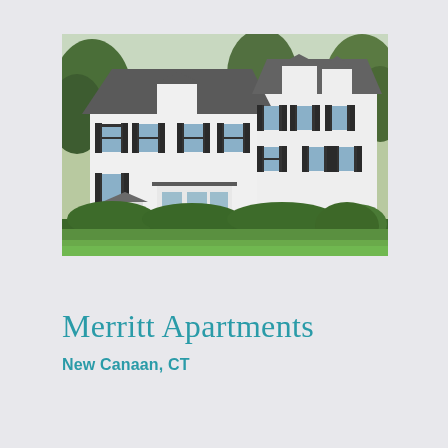[Figure (photo): Exterior photo of Merritt Apartments — a large white Colonial-style multi-unit residential building with black shutters, multiple dormers, a bay window addition, surrounded by manicured hedges and a green lawn, with large trees in the background.]
Merritt Apartments
New Canaan, CT